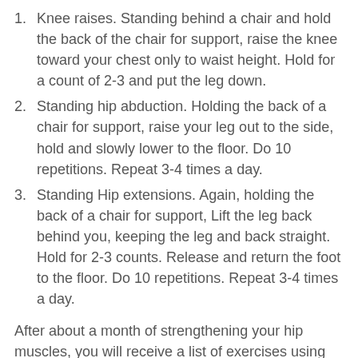1. Knee raises. Standing behind a chair and hold the back of the chair for support, raise the knee toward your chest only to waist height. Hold for a count of 2-3 and put the leg down.
2. Standing hip abduction. Holding the back of a chair for support, raise your leg out to the side, hold and slowly lower to the floor. Do 10 repetitions. Repeat 3-4 times a day.
3. Standing Hip extensions. Again, holding the back of a chair for support, Lift the leg back behind you, keeping the leg and back straight. Hold for 2-3 counts. Release and return the foot to the floor. Do 10 repetitions. Repeat 3-4 times a day.
After about a month of strengthening your hip muscles, you will receive a list of exercises using resistance with an elastic tube. You may also be instructed to ride an exercise bike. Speak with your Ortho Illinois surgeon,